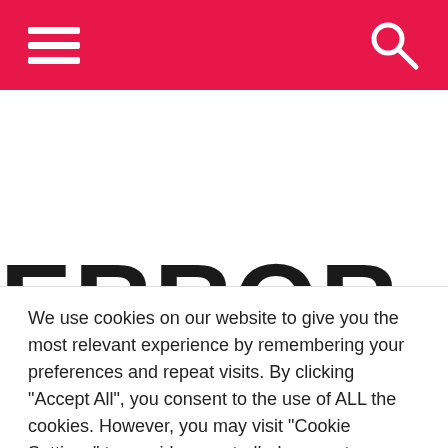Navigation header with hamburger menu and search icon
ERROR 404!
We use cookies on our website to give you the most relevant experience by remembering your preferences and repeat visits. By clicking "Accept All", you consent to the use of ALL the cookies. However, you may visit "Cookie Settings" to provide a controlled consent.
Cookie Settings | Accept All